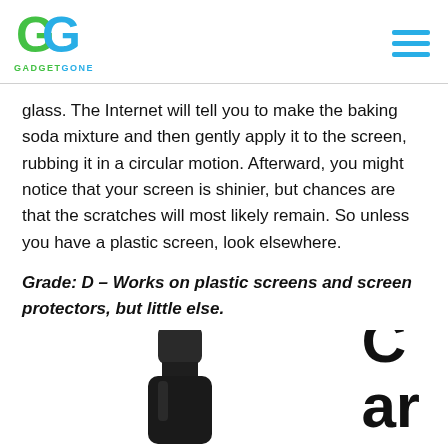GADGETGONE
glass. The Internet will tell you to make the baking soda mixture and then gently apply it to the screen, rubbing it in a circular motion. Afterward, you might notice that your screen is shinier, but chances are that the scratches will most likely remain. So unless you have a plastic screen, look elsewhere.
Grade: D – Works on plastic screens and screen protectors, but little else.
[Figure (photo): Partially visible bottle with black cap at the bottom of the page, with large text 'C ar' visible to the right, likely beginning of the word 'Car']